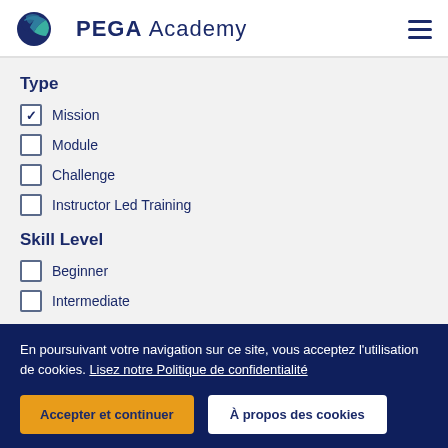PEGA Academy
Type
Mission (checked)
Module
Challenge
Instructor Led Training
Skill Level
Beginner
Intermediate
Product
En poursuivant votre navigation sur ce site, vous acceptez l'utilisation de cookies. Lisez notre Politique de confidentialité
Accepter et continuer | À propos des cookies